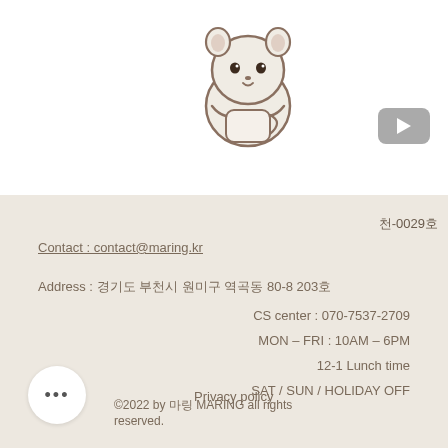[Figure (illustration): Cute cartoon hedgehog/hamster mascot holding a cup, drawn in simple line art with brown/beige coloring]
[Figure (other): YouTube play button icon in gray rounded rectangle]
천-0029호
Contact : contact@maring.kr
Address : 경기도 부천시 원미구 역곡동 80-8 203호
CS center : 070-7537-2709
MON – FRI : 10AM – 6PM
12-1 Lunch time
SAT / SUN / HOLIDAY OFF
Privacy policy
©2022 by 마링 MARING all rights reserved.